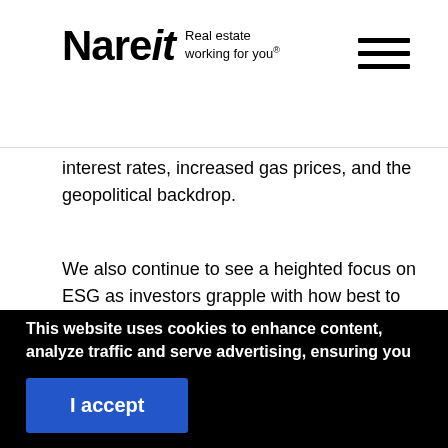Nareit Real estate working for you.
interest rates, increased gas prices, and the geopolitical backdrop.
We also continue to see a heighted focus on ESG as investors grapple with how best to factor ESG into their investment strategies.
This website uses cookies to enhance content, analyze traffic and serve advertising, ensuring you get the best experience on our website. By continuing to use our site you are agreeing to our cookie policy.
I accept